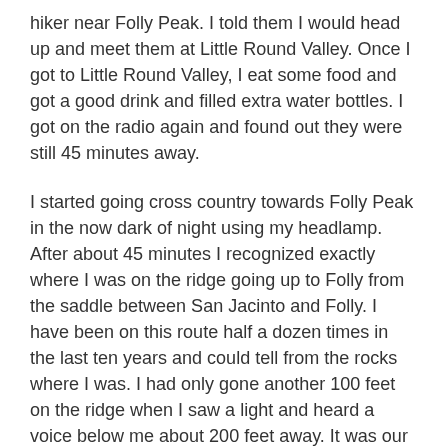hiker near Folly Peak. I told them I would head up and meet them at Little Round Valley. Once I got to Little Round Valley, I eat some food and got a good drink and filled extra water bottles. I got on the radio again and found out they were still 45 minutes away.
I started going cross country towards Folly Peak in the now dark of night using my headlamp. After about 45 minutes I recognized exactly where I was on the ridge going up to Folly from the saddle between San Jacinto and Folly. I have been on this route half a dozen times in the last ten years and could tell from the rocks where I was. I had only gone another 100 feet on the ridge when I saw a light and heard a voice below me about 200 feet away. It was our subject who was lost.